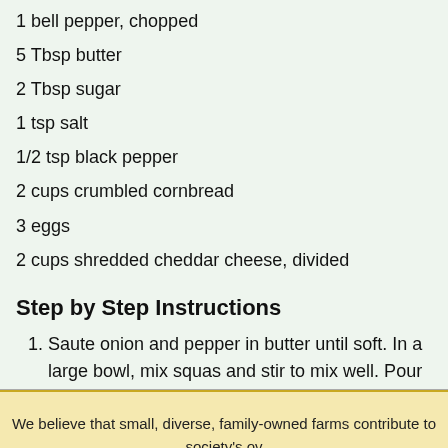1 bell pepper, chopped
5 Tbsp butter
2 Tbsp sugar
1 tsp salt
1/2 tsp black pepper
2 cups crumbled cornbread
3 eggs
2 cups shredded cheddar cheese, divided
Step by Step Instructions
Saute onion and pepper in butter until soft. In a large bowl, mix squas and stir to mix well. Pour into a greased 2-qt. baking dish. Bake at 37 10 minutes.
Back to Recipe Listings
Click here to go back to the recipe listings
We believe that small, diverse, family-owned farms contribute to society's ov food f